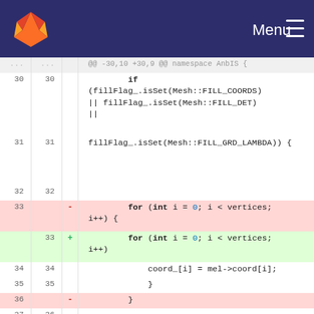[Figure (screenshot): GitLab navigation header bar with orange fox logo on left and Menu hamburger icon on right, dark navy background.]
... ... @@ -30,10 +30,9 @@ namespace AnbIS {
30  30      if (fillFlag_.isSet(Mesh::FILL_COORDS) || fillFlag_.isSet(Mesh::FILL_DET) ||
31  31      fillFlag_.isSet(Mesh::FILL_GRD_LAMBDA)) {
32  32
33  -       for (int i = 0; i < vertices; i++) {
33  +    for (int i = 0; i < vertices; i++)
34  34          coord_[i] = mel->coord[i];
35  35          }
36  -           }
37  36
38  37      if (fillFlag_.isSet(Mesh::FILL_NEIGH) || fillFlag_.isSet(Mesh::FILL_ORD_COORD